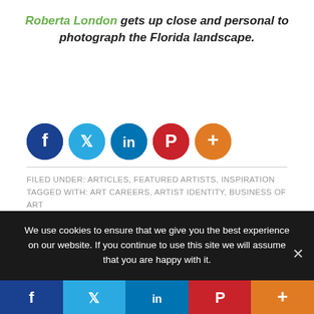Roberta London gets up close and personal to photograph the Florida landscape.
[Figure (infographic): Social share icons: Facebook (dark blue), Twitter (light blue), LinkedIn (blue), Pinterest (red), More/Plus (orange)]
FILED UNDER: ARTICLES, FEATURED ARTISTS, INSPIRATION TAGGED WITH: ART CAREERS, ARTIST IDENTITY, BUSINESS OF ART
Comments
We use cookies to ensure that we give you the best experience on our website. If you continue to use this site we will assume that you are happy with it.
[Figure (infographic): Bottom social share bar: Facebook (dark blue), Twitter (light blue), LinkedIn (blue), Pinterest (red), More/Plus (orange)]